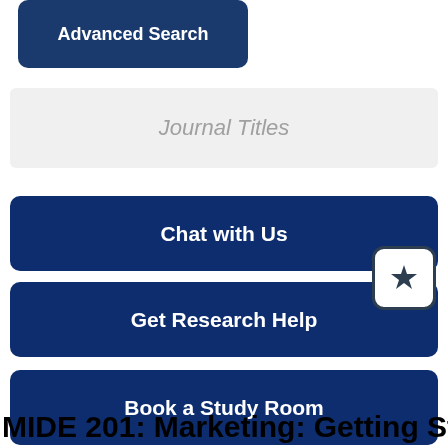Advanced Search
Journal Titles
Chat with Us
Get Research Help
Book a Study Room
My Library Account
MIDE 201: Marketing: Getting Started